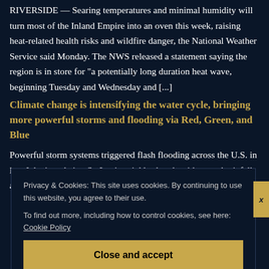RIVERSIDE — Searing temperatures and minimal humidity will turn most of the Inland Empire into an oven this week, raising heat-related health risks and wildfire danger, the National Weather Service said Monday. The NWS released a statement saying the region is in store for “a potentially long duration heat wave, beginning Tuesday and Wednesday and [...]
Climate change is intensifying the water cycle, bringing more powerful storms and flooding via Red, Green, and Blue
Powerful storm systems triggered flash flooding across the U.S. in late July, inundating St. Louis neighborhoods with record rainfall and cutting off sliding in waters before land...
Privacy & Cookies: This site uses cookies. By continuing to use this website, you agree to their use.
To find out more, including how to control cookies, see here: Cookie Policy
Close and accept